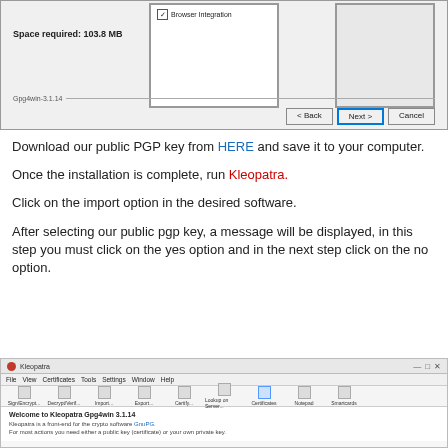[Figure (screenshot): Gpg4win installer window showing Browser Integration checkbox, Space required 103.8 MB, with Back, Next, Cancel buttons and Gpg4win-3.1.14 label]
Download our public PGP key from HERE and save it to your computer.
Once the installation is complete, run Kleopatra.
Click on the import option in the desired software.
After selecting our public pgp key, a message will be displayed, in this step you must click on the yes option and in the next step click on the no option.
[Figure (screenshot): Kleopatra application window showing the main interface with toolbar buttons including Sign/Encrypt, Decrypt/Verify, Import, Export, Certify, Lookup on Server, Certificates, Notepad, Smartcards, and Welcome to Kleopatra Gpg4win 3.1.14 message]